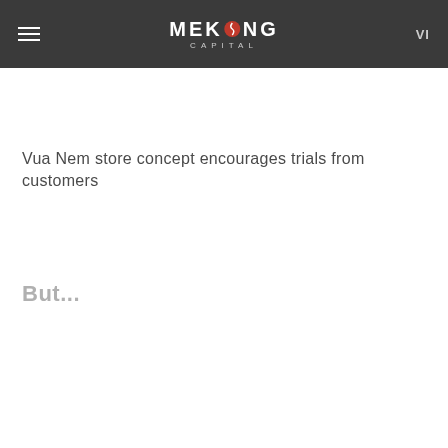MEKONG CAPITAL VI
Vua Nem store concept encourages trials from customers
But...